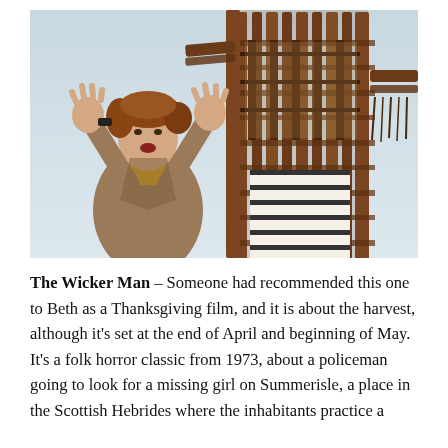[Figure (photo): A man with disheveled hair wearing a yellow turtleneck and brown blazer, arms raised with hands open, standing in front of a large wicker man structure made of woven branches and wooden scaffolding, against a pale blue-grey sky.]
The Wicker Man – Someone had recommended this one to Beth as a Thanksgiving film, and it is about the harvest, although it's set at the end of April and beginning of May. It's a folk horror classic from 1973, about a policeman going to look for a missing girl on Summerisle, a place in the Scottish Hebrides where the inhabitants practice a